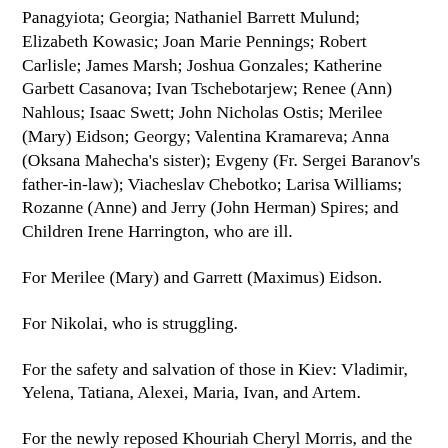Panagyiota; Georgia; Nathaniel Barrett Mulund; Elizabeth Kowasic; Joan Marie Pennings; Robert Carlisle; James Marsh; Joshua Gonzales; Katherine Garbett Casanova; Ivan Tschebotarjew; Renee (Ann) Nahlous; Isaac Swett; John Nicholas Ostis; Merilee (Mary) Eidson; Georgy; Valentina Kramareva; Anna (Oksana Mahecha's sister); Evgeny (Fr. Sergei Baranov's father-in-law); Viacheslav Chebotko; Larisa Williams; Rozanne (Anne) and Jerry (John Herman) Spires; and Children Irene Harrington, who are ill.
For Merilee (Mary) and Garrett (Maximus) Eidson.
For Nikolai, who is struggling.
For the safety and salvation of those in Kiev: Vladimir, Yelena, Tatiana, Alexei, Maria, Ivan, and Artem.
For the newly reposed Khouriah Cheryl Morris, and the Orthodox who have perished in the pandemic, and those slain in the violence in Syria, Lebanon, Ukraine, and the Holy Land.